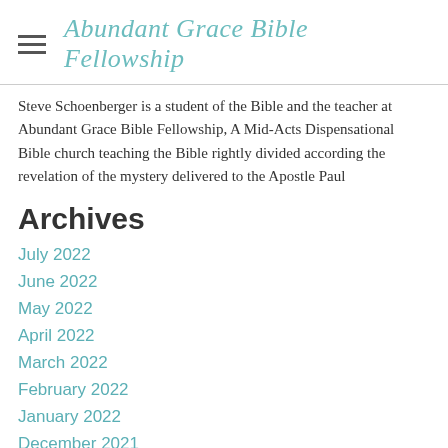Abundant Grace Bible Fellowship
Steve Schoenberger is a student of the Bible and the teacher at Abundant Grace Bible Fellowship, A Mid-Acts Dispensational Bible church teaching the Bible rightly divided according the revelation of the mystery delivered to the Apostle Paul
Archives
July 2022
June 2022
May 2022
April 2022
March 2022
February 2022
January 2022
December 2021
November 2021
October 2021
September 2021